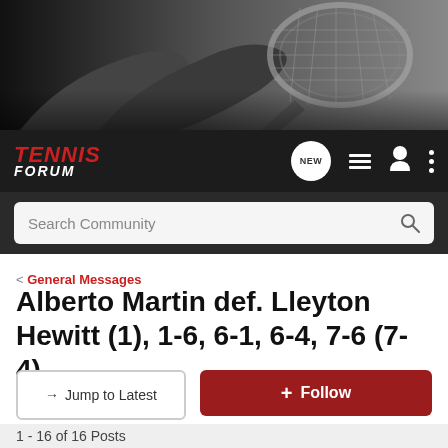[Figure (photo): Black and white hero banner showing a tennis player holding a racket, stadium background]
TENNIS FORUM
Search Community
< General Messages
Alberto Martin def. Lleyton Hewitt (1), 1-6, 6-1, 6-4, 7-6 (7-4)
→ Jump to Latest
+ Follow
1 - 16 of 16 Posts